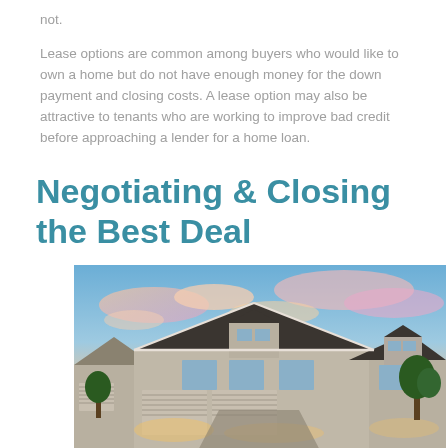not.
Lease options are common among buyers who would like to own a home but do not have enough money for the down payment and closing costs. A lease option may also be attractive to tenants who are working to improve bad credit before approaching a lender for a home loan.
Negotiating & Closing the Best Deal
[Figure (photo): A suburban two-story house with a three-car garage photographed at sunset with a colorful pink and blue sky in the background.]